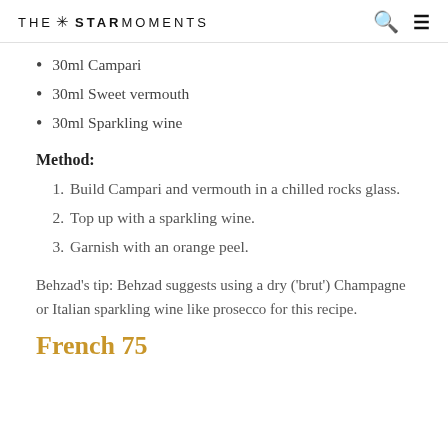THE ✳ STAR MOMENTS
30ml Campari
30ml Sweet vermouth
30ml Sparkling wine
Method:
1. Build Campari and vermouth in a chilled rocks glass.
2. Top up with a sparkling wine.
3. Garnish with an orange peel.
Behzad's tip: Behzad suggests using a dry ('brut') Champagne or Italian sparkling wine like prosecco for this recipe.
French 75